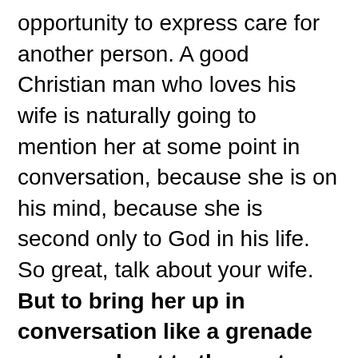opportunity to express care for another person. A good Christian man who loves his wife is naturally going to mention her at some point in conversation, because she is on his mind, because she is second only to God in his life. So great, talk about your wife. But to bring her up in conversation like a grenade you are about to throw at your target is not healthy, not helpful. To “pull, aim and extinguish” conversation with a single woman purely because she is single and a woman is not merely rude, but is a poor witness for Christ.